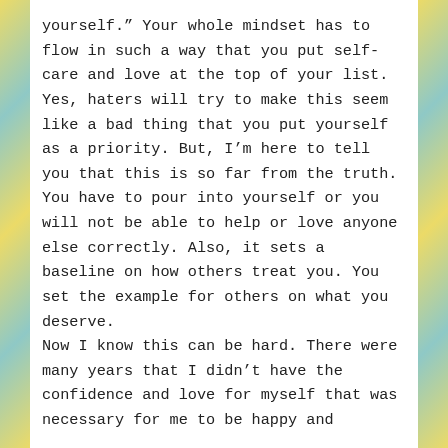yourself.” Your whole mindset has to flow in such a way that you put self-care and love at the top of your list. Yes, haters will try to make this seem like a bad thing that you put yourself as a priority. But, I’m here to tell you that this is so far from the truth. You have to pour into yourself or you will not be able to help or love anyone else correctly. Also, it sets a baseline on how others treat you. You set the example for others on what you deserve.
Now I know this can be hard. There were many years that I didn’t have the confidence and love for myself that was necessary for me to be happy and